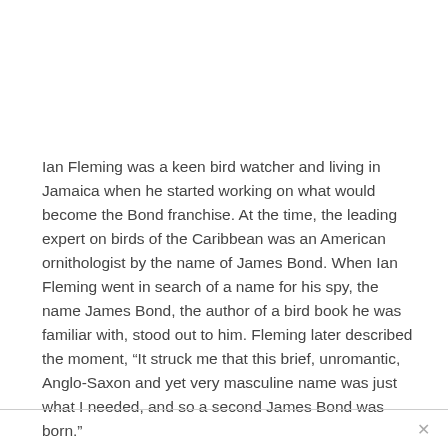Ian Fleming was a keen bird watcher and living in Jamaica when he started working on what would become the Bond franchise. At the time, the leading expert on birds of the Caribbean was an American ornithologist by the name of James Bond. When Ian Fleming went in search of a name for his spy, the name James Bond, the author of a bird book he was familiar with, stood out to him. Fleming later described the moment, “It struck me that this brief, unromantic, Anglo-Saxon and yet very masculine name was just what I needed, and so a second James Bond was born.”